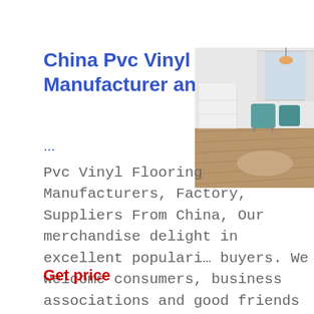China Pvc Vinyl Flooring Manufacturer and Supplier
...
Pvc Vinyl Flooring Manufacturers, Factory, Suppliers From China, Our merchandise delight in excellent popularity among buyers. We welcome consumers, business associations and good friends from all corners with the globe to make ...
[Figure (photo): Interior room photo showing vinyl flooring, white furniture, and teal chairs near windows]
Get price